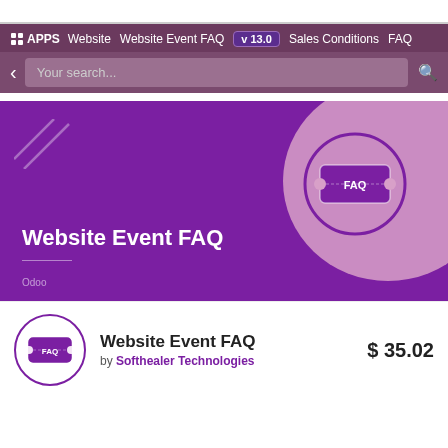APPS  Website  Website Event FAQ  v 13.0  Sales Conditions  FAQ
[Figure (screenshot): Search bar with back arrow, 'Your search...' placeholder, and search icon on dark purple background]
[Figure (illustration): Purple hero banner for Website Event FAQ module with ticket icon in circle on pink blob, decorative diagonal lines, title 'Website Event FAQ', horizontal rule, and 'Odoo' watermark]
Website Event FAQ
by Softhealer Technologies
$ 35.02